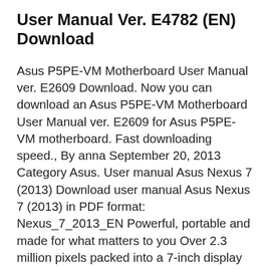User Manual Ver. E4782 (EN) Download
Asus P5PE-VM Motherboard User Manual ver. E2609 Download. Now you can download an Asus P5PE-VM Motherboard User Manual ver. E2609 for Asus P5PE-VM motherboard. Fast downloading speed., By anna September 20, 2013 Category Asus. User manual Asus Nexus 7 (2013) Download user manual Asus Nexus 7 (2013) in PDF format: Nexus_7_2013_EN Powerful, portable and made for what matters to you Over 2.3 million pixels packed into a 7-inch display with an ultra-high 323ppi for incredible visuals in full HD Slim new design increases.